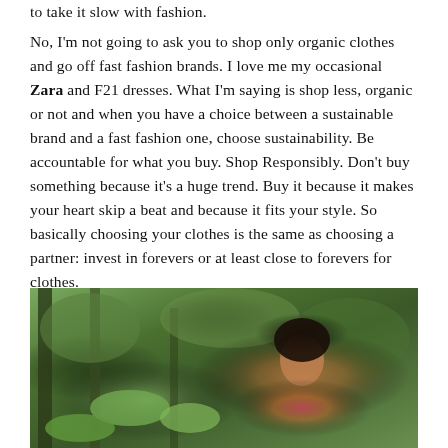to take it slow with fashion.
No, I'm not going to ask you to shop only organic clothes and go off fast fashion brands. I love me my occasional Zara and F21 dresses. What I'm saying is shop less, organic or not and when you have a choice between a sustainable brand and a fast fashion one, choose sustainability. Be accountable for what you buy. Shop Responsibly. Don't buy something because it's a huge trend. Buy it because it makes your heart skip a beat and because it fits your style. So basically choosing your clothes is the same as choosing a partner: invest in forevers or at least close to forevers for clothes.
[Figure (photo): A woman with curly dark hair smiling outdoors among green trees and plants, wearing a colorful outfit.]